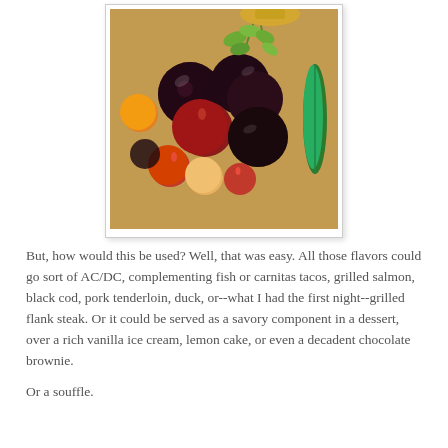[Figure (photo): Close-up photo of mixed stone fruits (dark plums, cherries, apricots) on a wooden surface with green herbs and a green pepper, lit warmly]
But, how would this be used? Well, that was easy. All those flavors could go sort of AC/DC, complementing fish or carnitas tacos, grilled salmon, black cod, pork tenderloin, duck, or--what I had the first night--grilled flank steak. Or it could be served as a savory component in a dessert, over a rich vanilla ice cream, lemon cake, or even a decadent chocolate brownie.
Or a souffle.